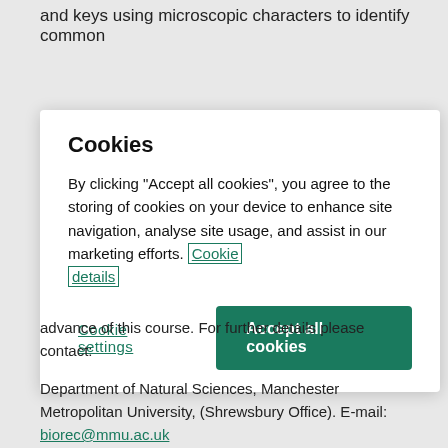and keys using microscopic characters to identify common
[Figure (screenshot): Cookie consent modal dialog with title 'Cookies', body text about accepting cookies, a 'Cookie details' link, a 'Cookie settings' button, and an 'Accept all cookies' button.]
advance of this course. For further details please contact:
Department of Natural Sciences, Manchester Metropolitan University, (Shrewsbury Office). E-mail: biorec@mmu.ac.uk
The Unit will be assessed through, for example, identification tests, survey reports, field journals, production of keys, essays